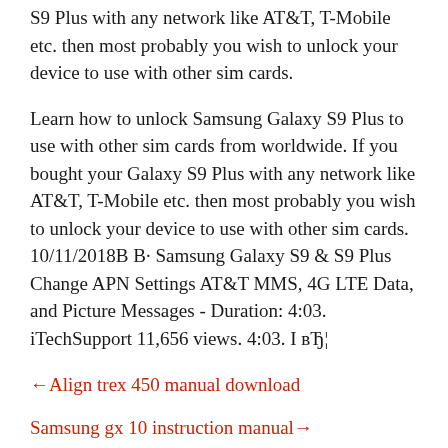S9 Plus with any network like AT&T, T-Mobile etc. then most probably you wish to unlock your device to use with other sim cards.
Learn how to unlock Samsung Galaxy S9 Plus to use with other sim cards from worldwide. If you bought your Galaxy S9 Plus with any network like AT&T, T-Mobile etc. then most probably you wish to unlock your device to use with other sim cards. 10/11/2018В В· Samsung Galaxy S9 & S9 Plus Change APN Settings AT&T MMS, 4G LTE Data, and Picture Messages - Duration: 4:03. iTechSupport 11,656 views. 4:03. І вЂ¦
←Align trex 450 manual download
Samsung gx 10 instruction manual→